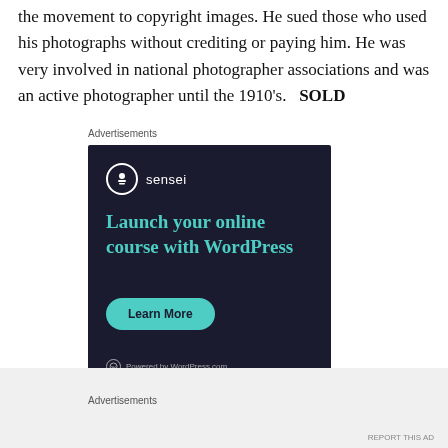the movement to copyright images. He sued those who used his photographs without crediting or paying him. He was very involved in national photographer associations and was an active photographer until the 1910's.   SOLD
Advertisements
[Figure (screenshot): Advertisement for Sensei plugin: 'Launch your online course with WordPress' with a 'Learn More' button, dark navy background, teal text, Powered by WordPress.com footer]
Advertisements